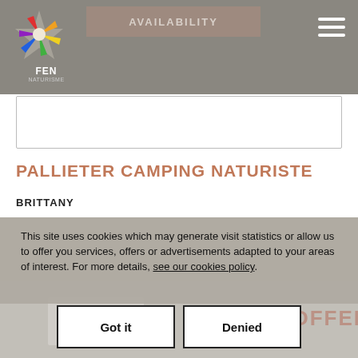AVAILABILITY
PALLIETER CAMPING NATURISTE
BRITTANY
This site uses cookies which may generate visit statistics or allow us to offer you services, offers or advertisements adapted to your areas of interest. For more details, see our cookies policy.
Got it | Denied